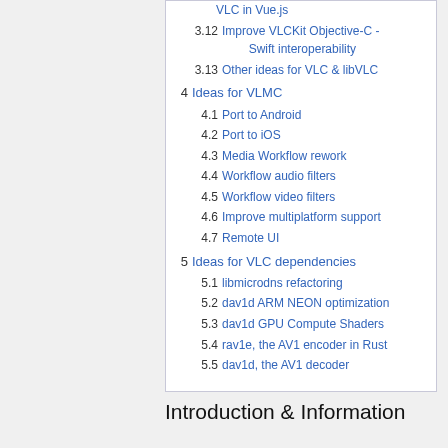VLC in Vue.js
3.12 Improve VLCKit Objective-C - Swift interoperability
3.13 Other ideas for VLC & libVLC
4 Ideas for VLMC
4.1 Port to Android
4.2 Port to iOS
4.3 Media Workflow rework
4.4 Workflow audio filters
4.5 Workflow video filters
4.6 Improve multiplatform support
4.7 Remote UI
5 Ideas for VLC dependencies
5.1 libmicrodns refactoring
5.2 dav1d ARM NEON optimization
5.3 dav1d GPU Compute Shaders
5.4 rav1e, the AV1 encoder in Rust
5.5 dav1d, the AV1 decoder
Introduction & Information